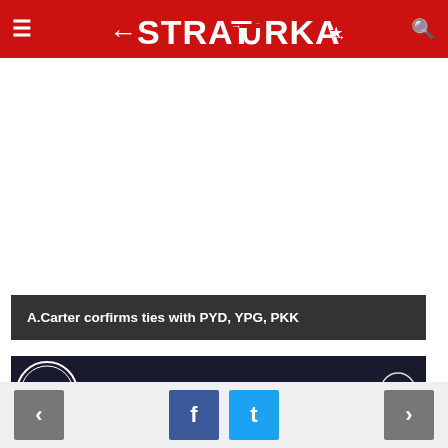STRATORKA
A.Carter corfirms ties with PYD, YPG, PKK
[Figure (screenshot): Anadolu Ajansı (AA) video thumbnail showing 'ABD Savunma Bakanı Ca...' with AA logo on left and right side]
< f t >